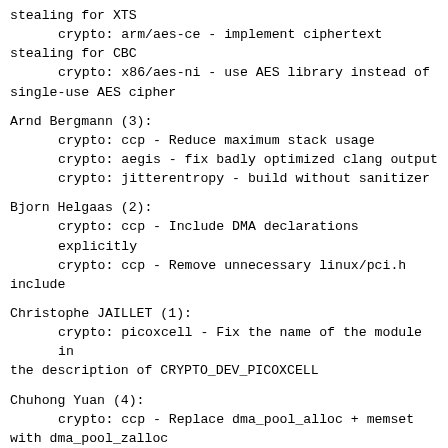stealing for XTS
      crypto: arm/aes-ce - implement ciphertext stealing for CBC
      crypto: x86/aes-ni - use AES library instead of single-use AES cipher
Arnd Bergmann (3):
      crypto: ccp - Reduce maximum stack usage
      crypto: aegis - fix badly optimized clang output
      crypto: jitterentropy - build without sanitizer
Bjorn Helgaas (2):
      crypto: ccp - Include DMA declarations explicitly
      crypto: ccp - Remove unnecessary linux/pci.h include
Christophe JAILLET (1):
      crypto: picoxcell - Fix the name of the module in the description of CRYPTO_DEV_PICOXCELL
Chuhong Yuan (4):
      crypto: ccp - Replace dma_pool_alloc + memset with dma_pool_zalloc
      crypto: atmel-sha204a - Use device-managed registration API
      hwrng: drivers - Use device-managed registration API
      crypto: cryptd - Use refcount_t for refcount
Colin Ian King (1):